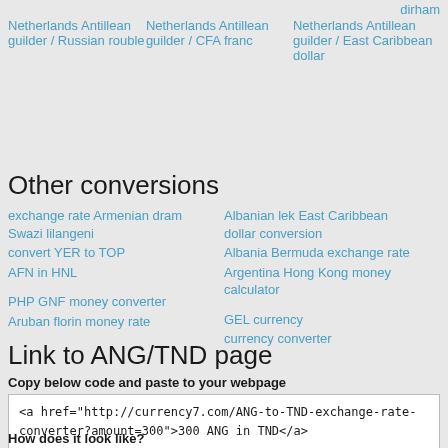dirham
Netherlands Antillean guilder / Russian rouble
Netherlands Antillean guilder / CFA franc
Netherlands Antillean guilder / East Caribbean dollar
Other conversions
exchange rate Armenian dram Swazi lilangeni
Albanian lek East Caribbean dollar conversion
convert YER to TOP
Albania Bermuda exchange rate
AFN in HNL
Argentina Hong Kong money calculator
PHP GNF money converter
GEL currency
Aruban florin money rate
currency converter
Link to ANG/TND page
Copy below code and paste to your webpage
<a href="http://currency7.com/ANG-to-TND-exchange-rate-converter?amount=300">300 ANG in TND</a>
How does it look like?